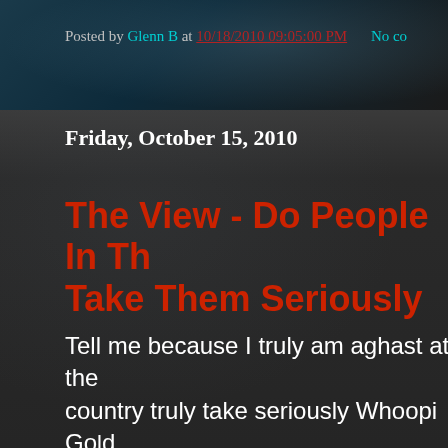Posted by Glenn B at 10/18/2010 09:05:00 PM  No co
Friday, October 15, 2010
The View - Do People In Th... Take Them Seriously
Tell me because I truly am aghast at the... country truly take seriously Whoopi Go... is ridiculous let alone her view) Wa-Wa... Hasselbeck and Sherri Shepherd? Do A... credence at all to Joy Behar? It is sad to... that they do. All this fuss over them and...